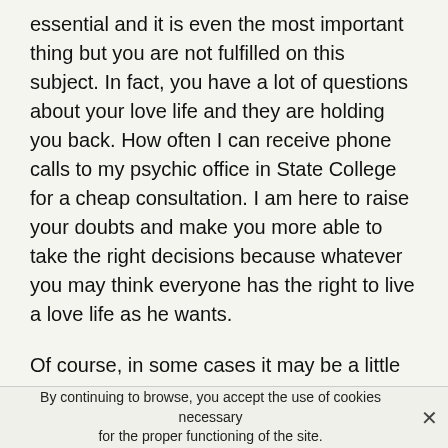essential and it is even the most important thing but you are not fulfilled on this subject. In fact, you have a lot of questions about your love life and they are holding you back. How often I can receive phone calls to my psychic office in State College for a cheap consultation. I am here to raise your doubts and make you more able to take the right decisions because whatever you may think everyone has the right to live a love life as he wants.
Of course, in some cases it may be a little more complicated and the path may be full of obstacles that you will have to overcome. But keep in mind that I am here to help you, but I cannot make decisions or do things for you. After having a telephone psychic consultation, you will know what is preventing you from having a true love story, from finding your soul mate or if you have made the right choice. You will be able to better understand why you can't
By continuing to browse, you accept the use of cookies necessary for the proper functioning of the site.